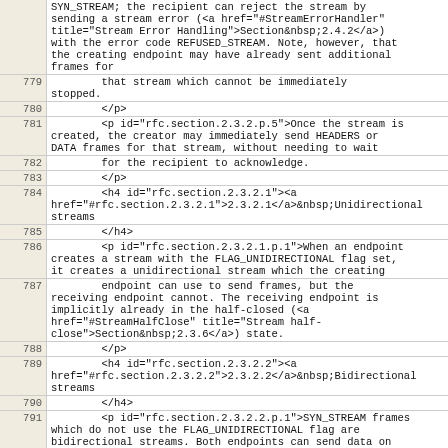| line | code |
| --- | --- |
|  | SYN_STREAM; the recipient can reject the stream by sending a stream error (<a href="#StreamErrorHandler" title="Stream Error Handling">Section&nbsp;2.4.2</a>) with the error code REFUSED_STREAM. Note, however, that the creating endpoint may have already sent additional frames for |
| 779 |         that stream which cannot be immediately stopped. |
| 780 |         </p> |
| 781 |         <p id="rfc.section.2.3.2.p.5">Once the stream is created, the creator may immediately send HEADERS or DATA frames for that stream, without needing to wait |
| 782 |         for the recipient to acknowledge. |
| 783 |         </p> |
| 784 |         <h4 id="rfc.section.2.3.2.1"><a href="#rfc.section.2.3.2.1">2.3.2.1</a>&nbsp;Unidirectional streams |
| 785 |         </h4> |
| 786 |         <p id="rfc.section.2.3.2.1.p.1">When an endpoint creates a stream with the FLAG_UNIDIRECTIONAL flag set, it creates a unidirectional stream which the creating |
| 787 |         endpoint can use to send frames, but the receiving endpoint cannot. The receiving endpoint is implicitly already in the half-closed (<a href="#StreamHalfClose" title="Stream half-close">Section&nbsp;2.3.6</a>) state. |
| 788 |         </p> |
| 789 |         <h4 id="rfc.section.2.3.2.2"><a href="#rfc.section.2.3.2.2">2.3.2.2</a>&nbsp;Bidirectional streams |
| 790 |         </h4> |
| 791 |         <p id="rfc.section.2.3.2.2.p.1">SYN_STREAM frames which do not use the FLAG_UNIDIRECTIONAL flag are bidirectional streams. Both endpoints can send data on |
| 792 |         a bi-directional stream. |
| 793 |         </p> |